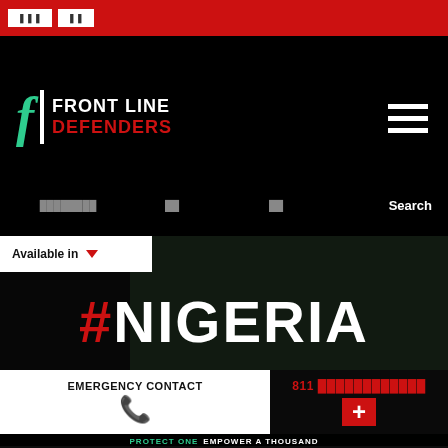Front Line Defenders website header with navigation buttons
[Figure (screenshot): Front Line Defenders logo with teal stylized f, white vertical bar, white FRONT LINE text and red DEFENDERS text on black background]
Available in ▼
#NIGERIA
EMERGENCY CONTACT
811 (redacted number) +
PROTECT ONE EMPOWER A THOUSAND